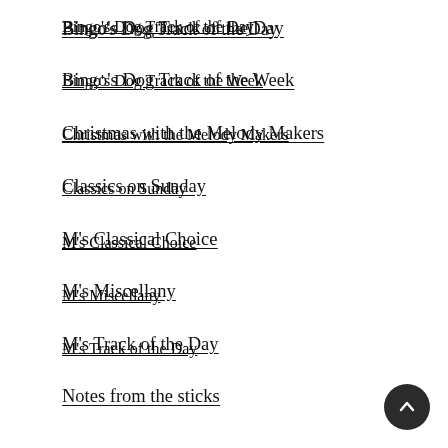Bingo's Dog Track of the Day
Bingo's Dog Track of the Week
Christmas with the Melody Makers
Classics on Sunday
M's Classical Choice
M's Miscellany
M's Track of the Day
Notes from the sticks
Off the Beaten Tracks
That Reminds Me . . .
The last BBC…